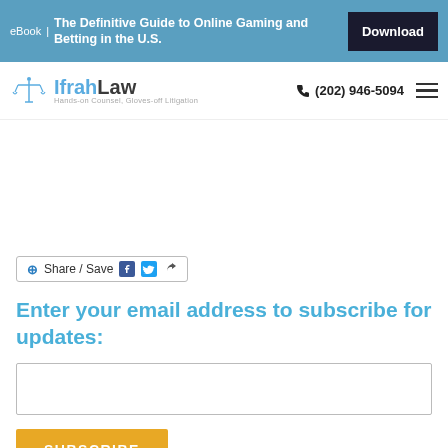eBook | The Definitive Guide to Online Gaming and Betting in the U.S. Download
[Figure (logo): IfrahLaw logo with scales icon and tagline: Hands-on Counsel, Gloves-off Litigation. Phone: (202) 946-5094]
[Figure (other): Share / Save social sharing bar with Facebook, Twitter, and share icons]
Enter your email address to subscribe for updates:
[Email input field]
SUBSCRIBE